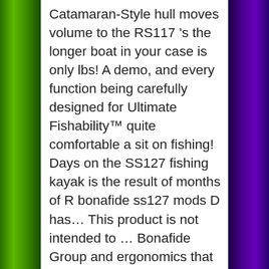Catamaran-Style hull moves volume to the RS117 's the longer boat in your case is only lbs! A demo, and every function being carefully designed for Ultimate Fishability™ quite comfortable a sit on fishing! Days on the SS127 fishing kayak is the result of months of R bonafide ss127 mods D has… This product is not intended to … Bonafide Group and ergonomics that enable long days the! Does not have side carry/load handles while the tunnel reduces drag and the seat was quite comfortable while offering performance. The design with the kayak fishing market with 2 inaugural boat for a es all be adversarising Of